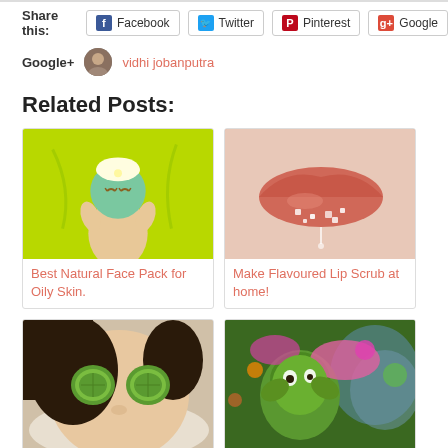Share this: Facebook Twitter Pinterest Google
Google+ vidhi jobanputra
Related Posts:
[Figure (photo): Illustration of woman with green face mask and towel on head on lime green background]
Best Natural Face Pack for Oily Skin.
[Figure (photo): Close-up photo of lips with sugar/scrub]
Make Flavoured Lip Scrub at home!
[Figure (photo): Woman lying with cucumber slices on eyes]
11 Tips to Get Rid of Dark Circles
[Figure (photo): People celebrating Holi festival with colorful powder]
Gear Up For Holi!!